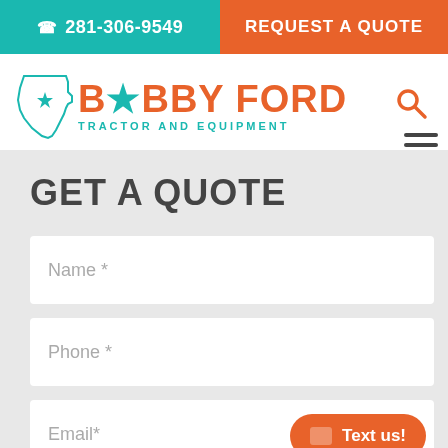281-306-9549  REQUEST A QUOTE
[Figure (logo): Bobby Ford Tractor and Equipment logo with Texas state outline and star]
GET A QUOTE
Name *
Phone *
Email*
Text us!